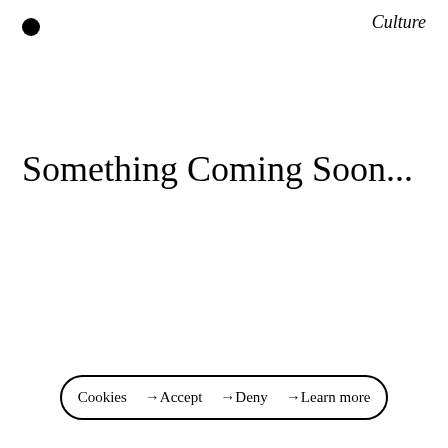Culture
Something Coming Soon...
Cookies →Accept →Deny →Learn more